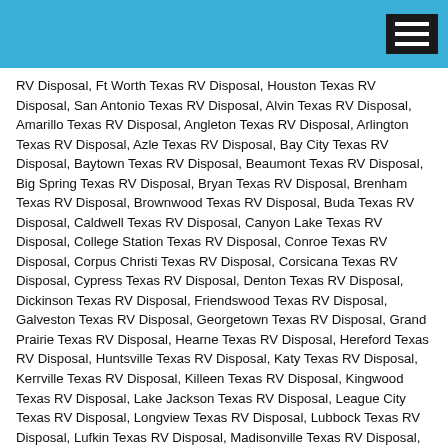RV Disposal, Ft Worth Texas RV Disposal, Houston Texas RV Disposal, San Antonio Texas RV Disposal, Alvin Texas RV Disposal, Amarillo Texas RV Disposal, Angleton Texas RV Disposal, Arlington Texas RV Disposal, Azle Texas RV Disposal, Bay City Texas RV Disposal, Baytown Texas RV Disposal, Beaumont Texas RV Disposal, Big Spring Texas RV Disposal, Bryan Texas RV Disposal, Brenham Texas RV Disposal, Brownwood Texas RV Disposal, Buda Texas RV Disposal, Caldwell Texas RV Disposal, Canyon Lake Texas RV Disposal, College Station Texas RV Disposal, Conroe Texas RV Disposal, Corpus Christi Texas RV Disposal, Corsicana Texas RV Disposal, Cypress Texas RV Disposal, Denton Texas RV Disposal, Dickinson Texas RV Disposal, Friendswood Texas RV Disposal, Galveston Texas RV Disposal, Georgetown Texas RV Disposal, Grand Prairie Texas RV Disposal, Hearne Texas RV Disposal, Hereford Texas RV Disposal, Huntsville Texas RV Disposal, Katy Texas RV Disposal, Kerrville Texas RV Disposal, Killeen Texas RV Disposal, Kingwood Texas RV Disposal, Lake Jackson Texas RV Disposal, League City Texas RV Disposal, Longview Texas RV Disposal, Lubbock Texas RV Disposal, Lufkin Texas RV Disposal, Madisonville Texas RV Disposal, Magnolia Texas RV Disposal, McKinney Texas RV Disposal, Mesquite Texas RV Disposal, Midland Texas RV Disposal, Nacogdoches Texas RV Disposal, Navasota Texas RV Disposal, New Braunfels Texas RV Disposal, Odessa Texas RV Disposal, Palestine Texas RV Disposal, Pasadena Texas RV Disposal, Pearland Texas RV Disposal, Plano Texas RV Disposal, Port Arthur Texas RV Disposal, Rosenberg Texas RV Disposal, Round Rock Texas RV Disposal, San Angelo Texas RV Disposal, San Marcos Texas RV Disposal, Seguin Texas RV Disposal, Spring